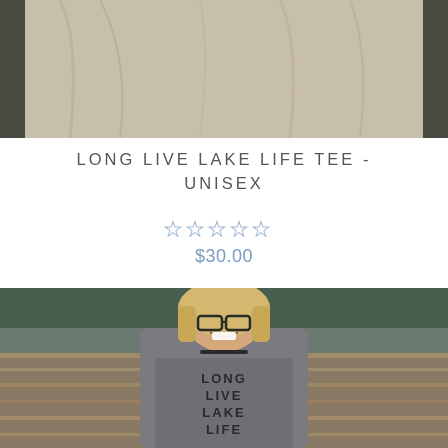[Figure (photo): Top photo showing a person's midsection wearing a light khaki/beige t-shirt, partially visible against a dark background]
LONG LIVE LAKE LIFE TEE - UNISEX
★★★★★ (empty star rating, 0 of 5 stars)
$30.00
[Figure (photo): Photo of a smiling woman with glasses and blonde hair wearing a gray sleeveless tank top with 'LONG LIVE LAKE LIFE' text, standing near a lake]